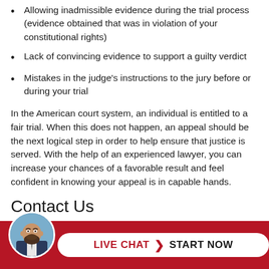Allowing inadmissible evidence during the trial process (evidence obtained that was in violation of your constitutional rights)
Lack of convincing evidence to support a guilty verdict
Mistakes in the judge's instructions to the jury before or during your trial
In the American court system, an individual is entitled to a fair trial. When this does not happen, an appeal should be the next logical step in order to help ensure that justice is served. With the help of an experienced lawyer, you can increase your chances of a favorable result and feel confident in knowing your appeal is in capable hands.
Contact Us
To speak with an experienced lawyer about your individual
[Figure (other): Live chat widget bar with attorney avatar photo, red background, and a white pill-shaped button reading 'LIVE CHAT > START NOW']